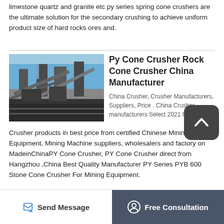limestone quartz and granite etc py series spring cone crushers are the ultimate solution for the secondary crushing to achieve uniform product size of hard rocks ores and.
Py Cone Crusher Rock Cone Crusher China Manufacturer
[Figure (photo): Outdoor industrial mining/crushing facility with conveyor belts and heavy machinery against a blue sky.]
China Crusher, Crusher Manufacturers, Suppliers, Price . China Crusher manufacturers Select 2021 high Crusher products in best price from certified Chinese Mining Equipment, Mining Machine suppliers, wholesalers and factory on MadeinChinaPY Cone Crusher, PY Cone Crusher direct from Hangzhou ,China Best Quality Manufacturer PY Series PYB 600 Stone Cone Crusher For Mining Equipment.
Send Message
Free Consultation